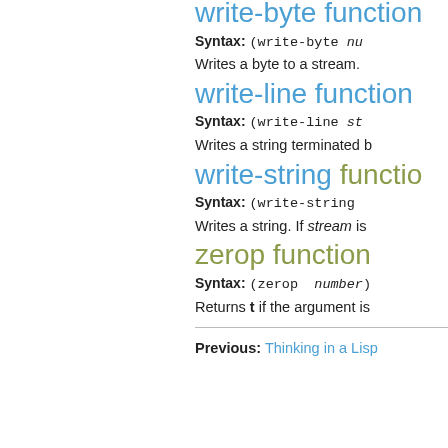write-byte function
Syntax: (write-byte nu
Writes a byte to a stream.
write-line function
Syntax: (write-line st
Writes a string terminated b
write-string functio
Syntax: (write-string
Writes a string. If stream is
zerop function
Syntax: (zerop number)
Returns t if the argument is
Previous: Thinking in a Lisp